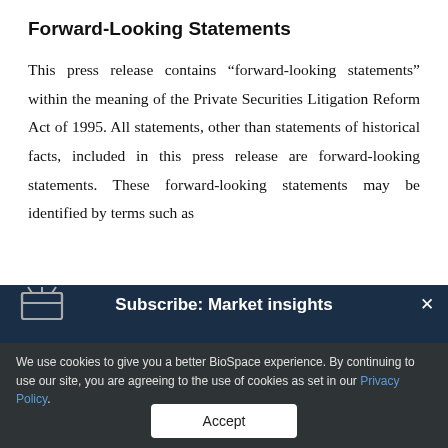Forward-Looking Statements
This press release contains “forward-looking statements” within the meaning of the Private Securities Litigation Reform Act of 1995. All statements, other than statements of historical facts, included in this press release are forward-looking statements. These forward-looking statements may be identified by terms such as
[Figure (screenshot): Subscribe: Market insights banner overlay with drum/inbox icon on left and close X button on right, displayed on dark navy background]
We use cookies to give you a better BioSpace experience. By continuing to use our site, you are agreeing to the use of cookies as set in our Privacy Policy.
Accept